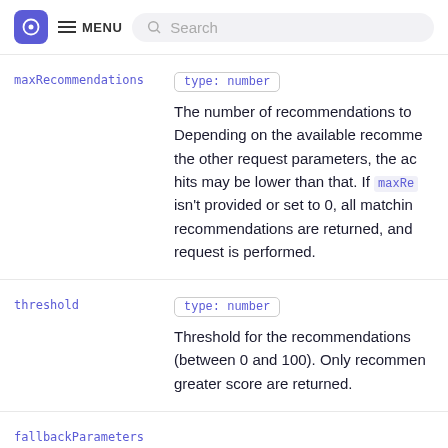MENU Search
maxRecommendations
type: number
The number of recommendations to Depending on the available recommendations the other request parameters, the actual hits may be lower than that. If maxRe isn't provided or set to 0, all matching recommendations are returned, and request is performed.
threshold
type: number
Threshold for the recommendations (between 0 and 100). Only recommendations with a greater score are returned.
fallbackParameters